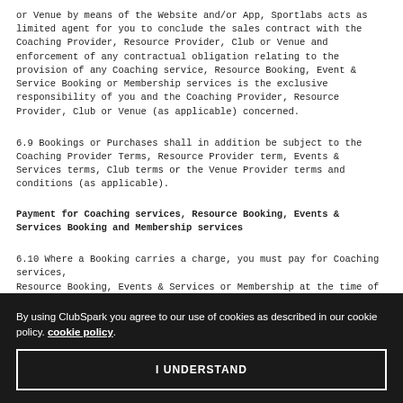or Venue by means of the Website and/or App, Sportlabs acts as limited agent for you to conclude the sales contract with the Coaching Provider, Resource Provider, Club or Venue and enforcement of any contractual obligation relating to the provision of any Coaching service, Resource Booking, Event & Service Booking or Membership services is the exclusive responsibility of you and the Coaching Provider, Resource Provider, Club or Venue (as applicable) concerned.
6.9 Bookings or Purchases shall in addition be subject to the Coaching Provider Terms, Resource Provider term, Events & Services terms, Club terms or the Venue Provider terms and conditions (as applicable).
Payment for Coaching services, Resource Booking, Events & Services Booking and Membership services
6.10 Where a Booking carries a charge, you must pay for Coaching services, Resource Booking, Events & Services or Membership at the time of booking
By using ClubSpark you agree to our use of cookies as described in our cookie policy. cookie policy.
I UNDERSTAND